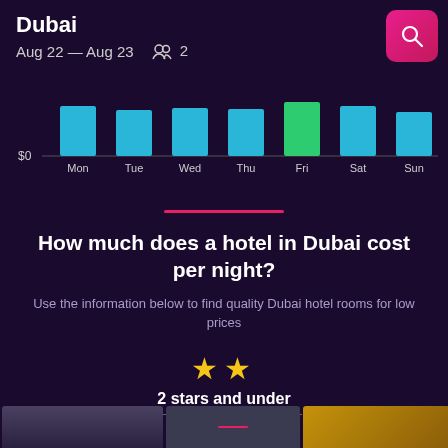Dubai
Aug 22 — Aug 23   👥 2
[Figure (bar-chart): Hotel prices by day of week]
How much does a hotel in Dubai cost per night?
Use the information below to find quality Dubai hotel rooms for low prices
★★ 2 stars and under